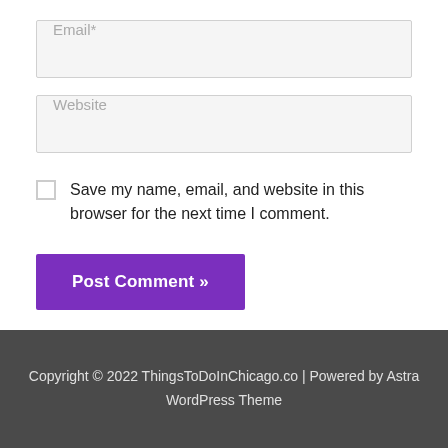[Figure (screenshot): Email input field with placeholder text 'Email*' on a light grey background]
[Figure (screenshot): Website input field with placeholder text 'Website' on a light grey background]
Save my name, email, and website in this browser for the next time I comment.
Post Comment »
Copyright © 2022 ThingsToDoInChicago.co | Powered by Astra WordPress Theme